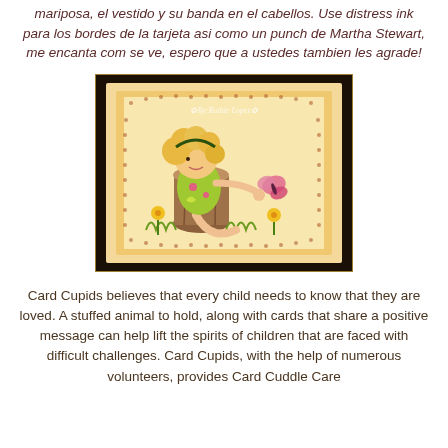mariposa, el vestido y su banda en el cabellos. Use distress ink para los bordes de la tarjeta asi como un punch de Martha Stewart, me encanta com se ve, espero que a ustedes tambien les agrade!
[Figure (illustration): A hand-drawn and colored illustration of a little girl with curly blonde hair and a green dress sitting on a tree stump, holding a pink butterfly. Yellow flowers are around the stump. The card has a scalloped/doily edge with dotted border on a cream/peach background. Watermark reads 'By: Ruthie Lopez'.]
Card Cupids believes that every child needs to know that they are loved. A stuffed animal to hold, along with cards that share a positive message can help lift the spirits of children that are faced with difficult challenges. Card Cupids, with the help of numerous volunteers, provides Card Cuddle Care